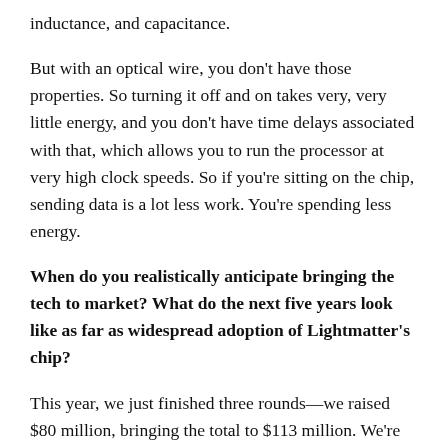inductance, and capacitance.
But with an optical wire, you don’t have those properties. So turning it off and on takes very, very little energy, and you don’t have time delays associated with that, which allows you to run the processor at very high clock speeds. So if you’re sitting on the chip, sending data is a lot less work. You’re spending less energy.
When do you realistically anticipate bringing the tech to market? What do the next five years look like as far as widespread adoption of Lightmatter’s chip?
This year, we just finished three rounds—we raised $80 million, bringing the total to $113 million. We’re growing the team to support all the engineering work that goes into the software stack that runs on top of this processor, so that’s a really big effort. We’re also building out the go-